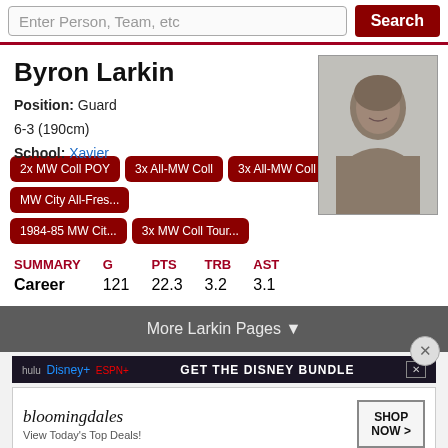Enter Person, Team, etc
Byron Larkin
Position: Guard
6-3 (190cm)
School: Xavier
[Figure (photo): Black and white headshot photo of Byron Larkin]
2x MW Coll POY
3x All-MW Coll
3x All-MW Coll T...
MW City All-Fres...
1984-85 MW Cit...
3x MW Coll Tour...
| SUMMARY | G | PTS | TRB | AST |
| --- | --- | --- | --- | --- |
| Career | 121 | 22.3 | 3.2 | 3.1 |
More Larkin Pages ▼
[Figure (screenshot): Disney Bundle advertisement banner]
[Figure (screenshot): Bloomingdale's advertisement - View Today's Top Deals! SHOP NOW >]
Per Game